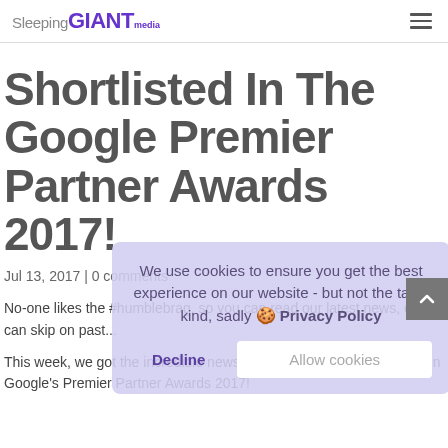Sleeping GIANT Media
Shortlisted In The Google Premier Partner Awards 2017!
Jul 13, 2017 | 0 comments
No-one likes the #humblebrag, so you can read our latest news, or you can skip on past...
This week, we got the incredible news that we have been shortlisted in Google's Premier Partner Awards 2017!
[Figure (other): Cookie consent overlay with text: We use cookies to ensure you get the best experience on our website - but not the tasty kind, sadly. Privacy Policy. Buttons: Decline, Allow cookies.]